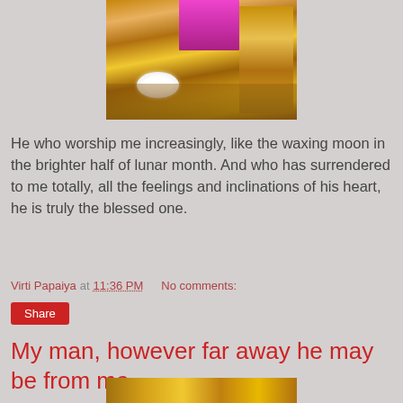[Figure (photo): Close-up photo of a golden decorative object with pink and gold ornamental elements and a white flower, likely a religious idol or offering plate]
He who worship me increasingly, like the waxing moon in the brighter half of lunar month. And who has surrendered to me totally, all the feelings and inclinations of his heart, he is truly the blessed one.
Virti Papaiya at 11:36 PM   No comments:
Share
My man, however far away he may be from me
[Figure (photo): Partial view of a golden decorative religious object at the bottom of the page]